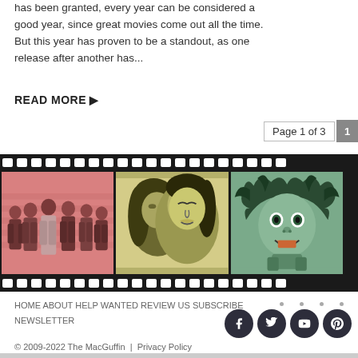has been granted, every year can be considered a good year, since great movies come out all the time. But this year has proven to be a standout, as one release after another has...
READ MORE ▶
Page 1 of 3   1   2   3
[Figure (illustration): Film strip with three movie illustration frames: left frame shows a group of men in suits (pink/salmon tones), middle frame shows a couple embracing (olive/yellow tones), right frame shows a wild-haired figure (green/teal tones)]
HOME ABOUT HELP WANTED REVIEW US SUBSCRIBE NEWSLETTER
© 2009-2022 The MacGuffin  |  Privacy Policy